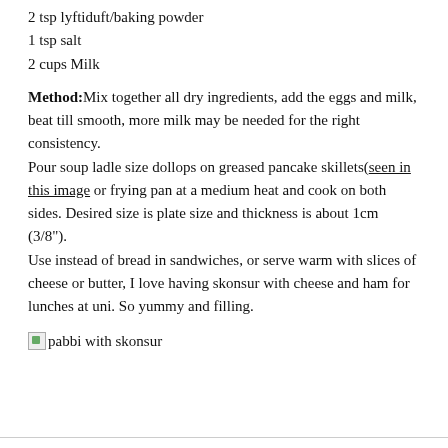2 tsp lyftiduft/baking powder
1 tsp salt
2 cups Milk
Method:Mix together all dry ingredients, add the eggs and milk, beat till smooth, more milk may be needed for the right consistency.
Pour soup ladle size dollops on greased pancake skillets(seen in this image or frying pan at a medium heat and cook on both sides. Desired size is plate size and thickness is about 1cm (3/8").
Use instead of bread in sandwiches, or serve warm with slices of cheese or butter, I love having skonsur with cheese and ham for lunches at uni. So yummy and filling.
[Figure (photo): pabbi with skonsur — broken/placeholder image with alt text]